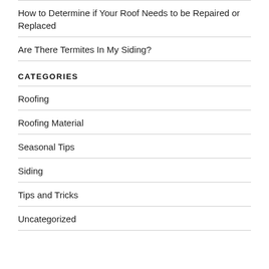How to Determine if Your Roof Needs to be Repaired or Replaced
Are There Termites In My Siding?
CATEGORIES
Roofing
Roofing Material
Seasonal Tips
Siding
Tips and Tricks
Uncategorized